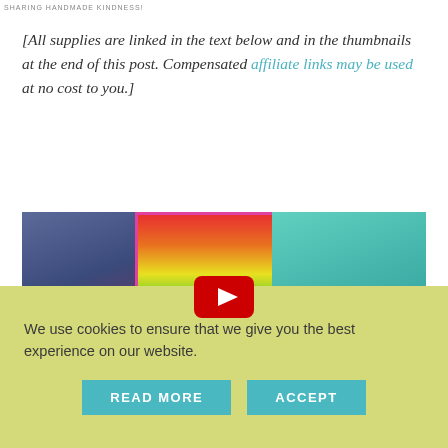SHARING HANDMADE KINDNESS!
[All supplies are linked in the text below and in the thumbnails at the end of this post. Compensated affiliate links may be used at no cost to you.]
[Figure (photo): Three handmade thank-you cards displayed overlapping: a dark purple/pink card with 'thank' in script, a rainbow-gradient card with floral die-cut border and 'Thanks' in script with YouTube play button overlay, and a teal card with 'hank' visible and dot embellishments.]
We use cookies to ensure that we give you the best experience on our website.
READ MORE
ACCEPT